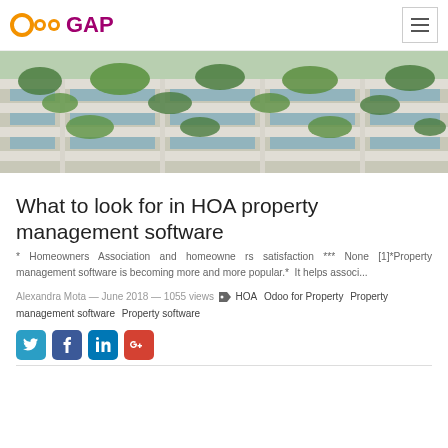OdooGAP
[Figure (photo): Exterior of a modern residential building with green plants on balconies and terraces, viewed from below at an angle.]
What to look for in HOA property management software
* Homeowners Association and homeowne rs satisfaction *** None [1]*Property management software is becoming more and more popular.*  It helps associ...
Alexandra Mota — June 2018 — 1055 views  HOA   Odoo for Property   Property management software   Property software
[Figure (other): Social share icons: Twitter, Facebook, LinkedIn, Google+]